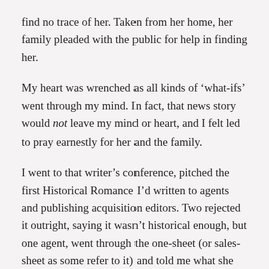find no trace of her. Taken from her home, her family pleaded with the public for help in finding her.
My heart was wrenched as all kinds of ‘what-ifs’ went through my mind. In fact, that news story would not leave my mind or heart, and I felt led to pray earnestly for her and the family.
I went to that writer’s conference, pitched the first Historical Romance I’d written to agents and publishing acquisition editors. Two rejected it outright, saying it wasn’t historical enough, but one agent, went through the one-sheet (or sales-sheet as some refer to it) and told me what she especially liked. She suggested I come home and make a contemporary story out of it.
I did, but in doing so, much of the conflict and tension no longer were strong enough, due to the fact technology had advanced well beyond the story…